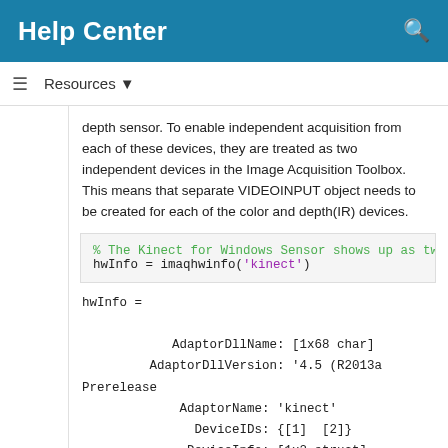Help Center
Resources ▼
depth sensor. To enable independent acquisition from each of these devices, they are treated as two independent devices in the Image Acquisition Toolbox. This means that separate VIDEOINPUT object needs to be created for each of the color and depth(IR) devices.
% The Kinect for Windows Sensor shows up as tw
hwInfo = imaqhwinfo('kinect')
hwInfo =

    AdaptorDllName: [1x68 char]
 AdaptorDllVersion: '4.5 (R2013a Prerelease
      AdaptorName: 'kinect'
        DeviceIDs: {[1]  [2]}
       DeviceInfo: [1x2 struct]
hwInfo.DeviceInfo(1)